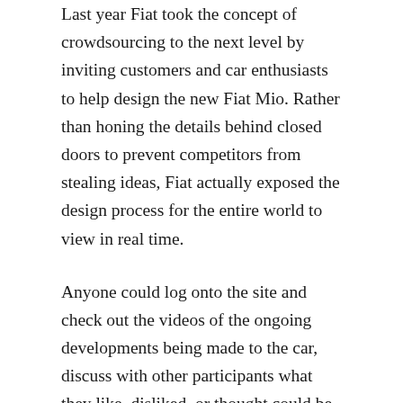Last year Fiat took the concept of crowdsourcing to the next level by inviting customers and car enthusiasts to help design the new Fiat Mio. Rather than honing the details behind closed doors to prevent competitors from stealing ideas, Fiat actually exposed the design process for the entire world to view in real time.
Anyone could log onto the site and check out the videos of the ongoing developments being made to the car, discuss with other participants what they like, disliked, or thought could be improved on. Submissions included an idea to have wheels that rotate 90 degrees to allow for easier parallel parking, using cameras instead of rear-view mirrors, and developing inter-vehicle communication mechanisms to avoid collision.
Since the project began, several million unique visitors have